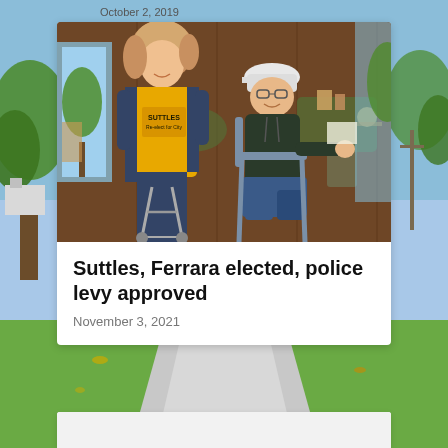October 2, 2019
[Figure (photo): Two women at an indoor event, one wearing a yellow 'Suttles' campaign t-shirt standing and smiling, another sitting in a chair wearing a dark hoodie and white cap, smiling, in what appears to be a restaurant or event hall with wooden walls and round tables.]
Suttles, Ferrara elected, police levy approved
November 3, 2021
[Figure (photo): Partial view of a white card/panel against a grass and sky background scene.]